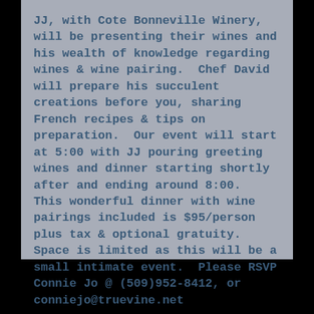JJ, with Cote Bonneville Winery, will be presenting their wines and his wealth of knowledge regarding wines & wine pairing.  Chef David will prepare his succulent creations before you, sharing French recipes & tips on preparation.  Our event will start at 5:00 with JJ pouring greeting wines and dinner starting shortly after and ending around 8:00.  This wonderful dinner with wine pairings included is $95/person plus tax & optional gratuity.  Space is limited as this will be a small intimate event.  Please RSVP Connie Jo @ (509)952-8412, or conniejo@truevine.net